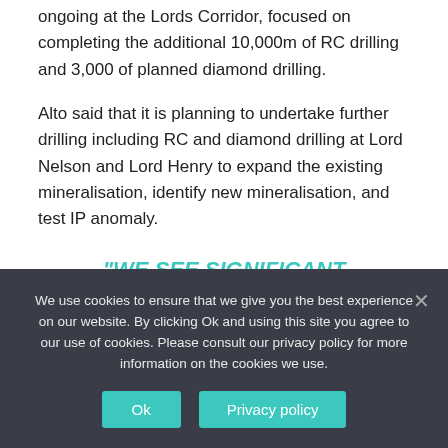ongoing at the Lords Corridor, focused on completing the additional 10,000m of RC drilling and 3,000 of planned diamond drilling.
Alto said that it is planning to undertake further drilling including RC and diamond drilling at Lord Nelson and Lord Henry to expand the existing mineralisation, identify new mineralisation, and test IP anomaly.
“WE SEE SIGNIFICANT POTENTIAL TO MAKE NEW DISCOVERIES AT THE LORDS CORRIDOR”
We use cookies to ensure that we give you the best experience on our website. By clicking Ok and using this site you agree to our use of cookies. Please consult our privacy policy for more information on the cookies we use.